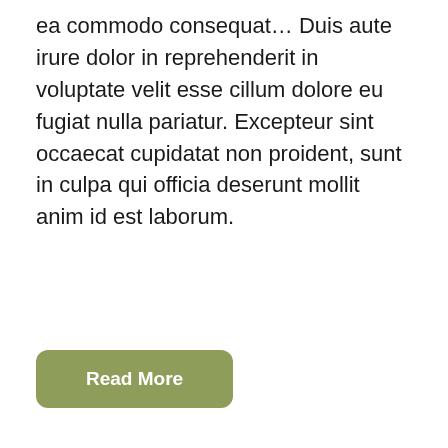ea commodo consequat… Duis aute irure dolor in reprehenderit in voluptate velit esse cillum dolore eu fugiat nulla pariatur. Excepteur sint occaecat cupidatat non proident, sunt in culpa qui officia deserunt mollit anim id est laborum.
Read More
[Figure (other): Light grey rounded card placeholder with 'Petie.' text watermark at the bottom center]